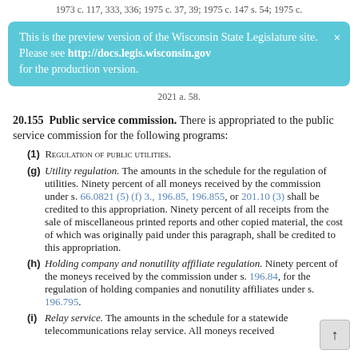1973 c. 117, 333, 336; 1975 c. 37, 39; 1975 c. 147 s. 54; 1975 c.
This is the preview version of the Wisconsin State Legislature site. Please see http://docs.legis.wisconsin.gov for the production version.
2021 a. 58.
20.155 Public service commission. There is appropriated to the public service commission for the following programs:
(1) REGULATION OF PUBLIC UTILITIES.
(g) Utility regulation. The amounts in the schedule for the regulation of utilities. Ninety percent of all moneys received by the commission under s. 66.0821 (5) (f) 3., 196.85, 196.855, or 201.10 (3) shall be credited to this appropriation. Ninety percent of all receipts from the sale of miscellaneous printed reports and other copied material, the cost of which was originally paid under this paragraph, shall be credited to this appropriation.
(h) Holding company and nonutility affiliate regulation. Ninety percent of the moneys received by the commission under s. 196.84, for the regulation of holding companies and nonutility affiliates under s. 196.795.
(i) Relay service. The amounts in the schedule for a statewide telecommunications relay service. All moneys received